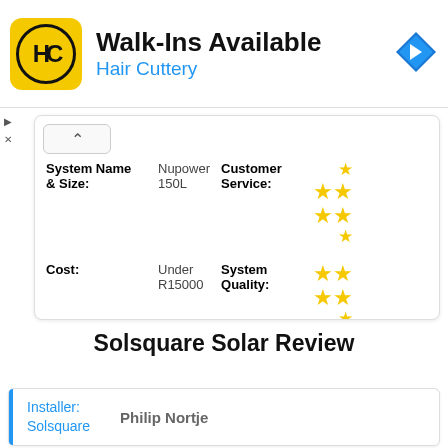[Figure (logo): Hair Cuttery advertisement banner with HC logo, 'Walk-Ins Available' heading, 'Hair Cuttery' subtitle in blue, and a blue navigation arrow icon]
| System Name & Size: | Nupower 150L | Customer Service: | ★★★★★ (4 stars shown) |
| Cost: | Under R15000 | System Quality: | ★★★ (3 stars shown) |
Solsquare Solar Review
Installer: Solsquare   Philip Nortje